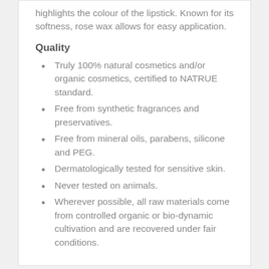highlights the colour of the lipstick. Known for its softness, rose wax allows for easy application.
Quality
Truly 100% natural cosmetics and/or organic cosmetics, certified to NATRUE standard.
Free from synthetic fragrances and preservatives.
Free from mineral oils, parabens, silicone and PEG.
Dermatologically tested for sensitive skin.
Never tested on animals.
Wherever possible, all raw materials come from controlled organic or bio-dynamic cultivation and are recovered under fair conditions.
Share  Tweet